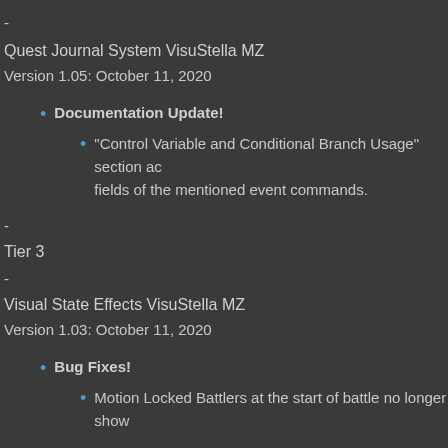-
Quest Journal System VisuStella MZ
Version 1.05: October 11, 2020
Documentation Update!
"Control Variable and Conditional Branch Usage" section added! This covers the Variable and Switch fields of the mentioned event commands.
-
Tier 3
-
Visual State Effects VisuStella MZ
Version 1.03: October 11, 2020
Bug Fixes!
Motion Locked Battlers at the start of battle no longer show
-
Tier 4